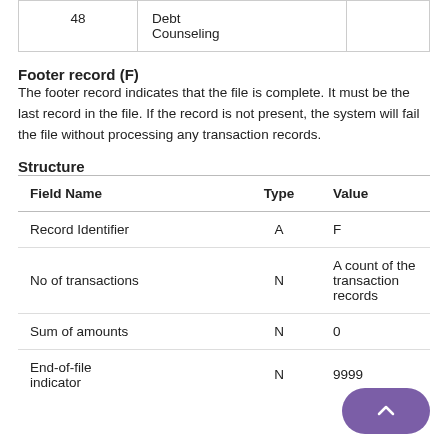|  |  |
| --- | --- |
| 48 | Debt Counseling |  |
Footer record (F)
The footer record indicates that the file is complete. It must be the last record in the file. If the record is not present, the system will fail the file without processing any transaction records.
Structure
| Field Name | Type | Value |
| --- | --- | --- |
| Record Identifier | A | F |
| No of transactions | N | A count of the transaction records |
| Sum of amounts | N | 0 |
| End-of-file indicator | N | 9999 |